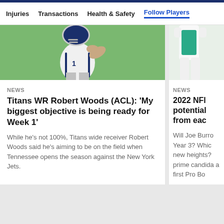Injuries  Transactions  Health & Safety  Follow Players
[Figure (photo): Football player in white and blue Titans uniform holding helmet, green field background]
NEWS
Titans WR Robert Woods (ACL): 'My biggest objective is being ready for Week 1'
While he's not 100%, Titans wide receiver Robert Woods said he's aiming to be on the field when Tennessee opens the season against the New York Jets.
[Figure (photo): Football player in teal and white Dolphins/Jets uniform, partial view cropped on right side]
NEWS
2022 NFl potential from eac
Will Joe Burro Year 3? Whic new heights? prime candida a first Pro Bo